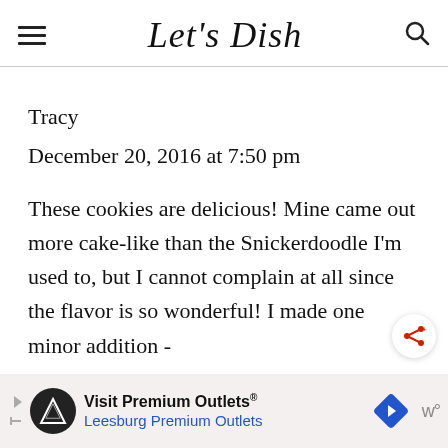Let's Dish
Tracy
December 20, 2016 at 7:50 pm
These cookies are delicious! Mine came out more cake-like than the Snickerdoodle I'm used to, but I cannot complain at all since the flavor is so wonderful! I made one minor addition -
[Figure (other): Advertisement bar: Visit Premium Outlets® Leesburg Premium Outlets, with logo and navigation arrow icons]